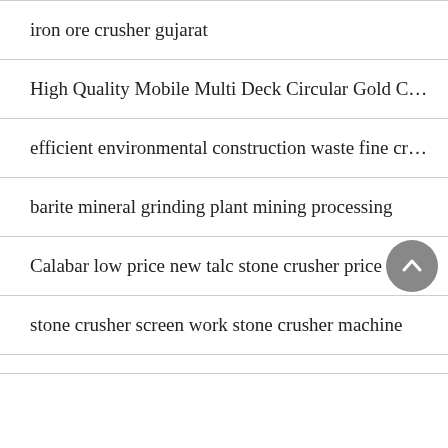iron ore crusher gujarat
High Quality Mobile Multi Deck Circular Gold C…
efficient environmental construction waste fine cr…
barite mineral grinding plant mining processing
Calabar low price new talc stone crusher price
stone crusher screen work stone crusher machine